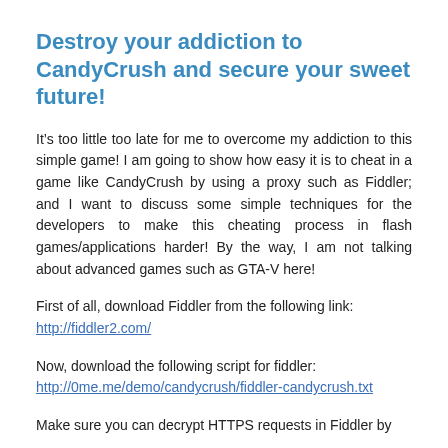Destroy your addiction to CandyCrush and secure your sweet future!
It’s too little too late for me to overcome my addiction to this simple game! I am going to show how easy it is to cheat in a game like CandyCrush by using a proxy such as Fiddler; and I want to discuss some simple techniques for the developers to make this cheating process in flash games/applications harder! By the way, I am not talking about advanced games such as GTA-V here!
First of all, download Fiddler from the following link: http://fiddler2.com/
Now, download the following script for fiddler: http://0me.me/demo/candycrush/fiddler-candycrush.txt
Make sure you can decrypt HTTPS requests in Fiddler by